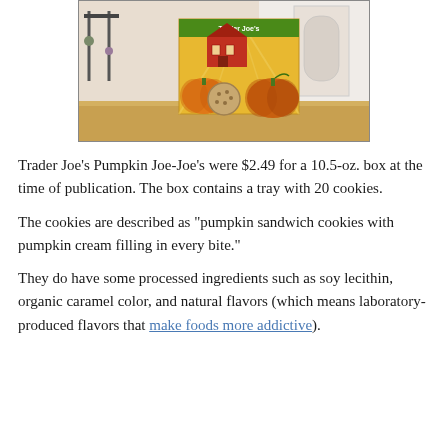[Figure (photo): A photo of a Trader Joe's Pumpkin Joe-Joe's cookie box on a wooden table. The box features a barn, pumpkins, and a cookie illustration on a yellow/orange background with green header.]
Trader Joe’s Pumpkin Joe-Joe’s were $2.49 for a 10.5-oz. box at the time of publication. The box contains a tray with 20 cookies.
The cookies are described as “pumpkin sandwich cookies with pumpkin cream filling in every bite.”
They do have some processed ingredients such as soy lecithin, organic caramel color, and natural flavors (which means laboratory-produced flavors that make foods more addictive).